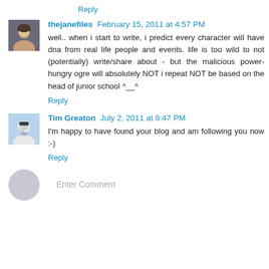I always enjoy visitig here.
Reply
thejanefiles February 15, 2011 at 4:57 PM
well.. when i start to write, i predict every character will have dna from real life people and events. life is too wild to not (potentially) write/share about - but the malicious power-hungry ogre will absolutely NOT i repeat NOT be based on the head of junior school ^__^
Reply
Tim Greaton July 2, 2011 at 9:47 PM
I'm happy to have found your blog and am following you now :-)
Reply
Enter Comment